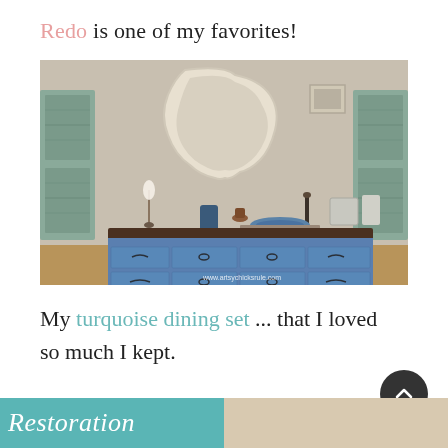Redo is one of my favorites!
[Figure (photo): A painted blue French Provincial dresser with dark wood top, decorated with various items including a lamp, vases, bowls, and a mirror on the wall behind it. A wicker basket is visible to the right. Watermark: www.artsychicksrule.com]
My turquoise dining set ... that I loved so much I kept.
[Figure (photo): Bottom strip showing partial image of text 'Restoration' on teal/turquoise background on left, and a partial beige/neutral image on right]